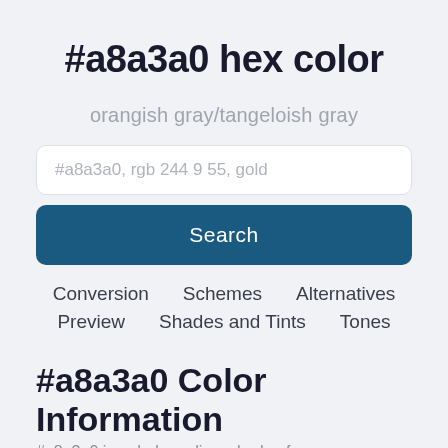#a8a3a0 hex color
orangish gray/tangeloish gray
#a8a3a0, rgb 244 9 55, gold
Search
Conversion
Schemes
Alternatives
Preview
Shades and Tints
Tones
#a8a3a0 Color Information
#a8a3a0 is a dark medium shade of...